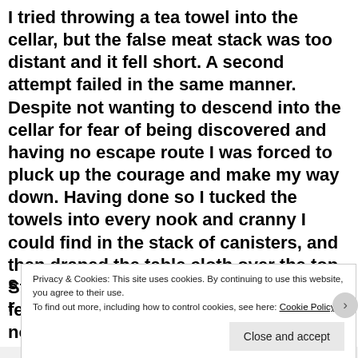I tried throwing a tea towel into the cellar, but the false meat stack was too distant and it fell short. A second attempt failed in the same manner. Despite not wanting to descend into the cellar for fear of being discovered and having no escape route I was forced to pluck up the courage and make my way down. Having done so I tucked the towels into every nook and cranny I could find in the stack of canisters, and then draped the table cloth over the top. Stepping back to look at my handiwork I felt reasonably pleased. All I needed now was an ignition source. Unfortunately the contents of several drawers yielded not one match or lighter. I considered turning on an electric ring of the kitchen s... r...
Privacy & Cookies: This site uses cookies. By continuing to use this website, you agree to their use. To find out more, including how to control cookies, see here: Cookie Policy
Close and accept